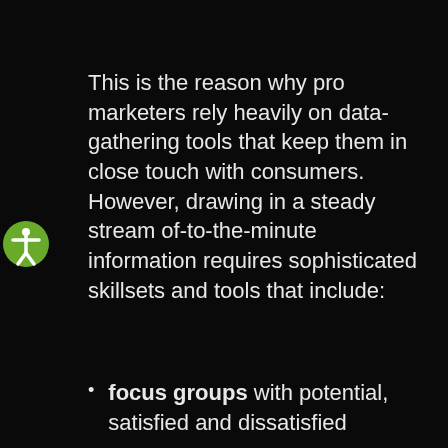This is the reason why pro marketers rely heavily on data-gathering tools that keep them in close touch with consumers. However, drawing in a steady stream of-to-the-minute information requires sophisticated skillsets and tools that include:
focus groups with potential, satisfied and dissatisfied